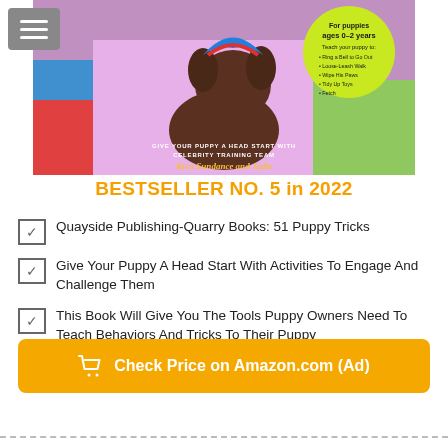[Figure (photo): Book cover of 51 Puppy Tricks by Kyra Sundance and Jadie. Shows a puppy with colorful blocks/toys. A green circular badge reads 'For puppies ages 0-2 years' with bullet points: Ring a Bell to Go Out, Loose-Leash Walk, Wipe His Paws, Tidy Up Toys, Fetch. Text overlay reads 'GIVE YOUR PUPPY A HEAD START WITH CELEBRITY TRAINING TEAM' and 'Kyra Sundance and Jadie' in yellow.]
BESTSELLER NO. 5 in 2022
Quayside Publishing-Quarry Books: 51 Puppy Tricks
Give Your Puppy A Head Start With Activities To Engage And Challenge Them
This Book Will Give You The Tools Puppy Owners Need To Teach Behaviors And Tricks To Their Puppy